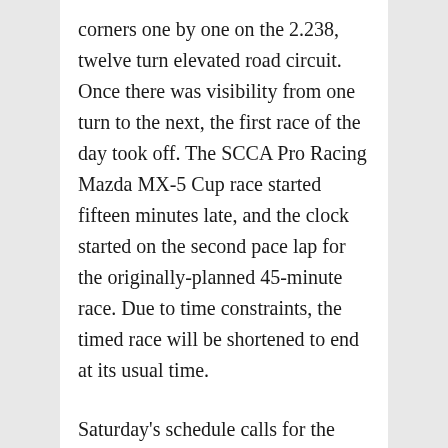corners one by one on the 2.238, twelve turn elevated road circuit. Once there was visibility from one turn to the next, the first race of the day took off. The SCCA Pro Racing Mazda MX-5 Cup race started fifteen minutes late, and the clock started on the second pace lap for the originally-planned 45-minute race. Due to time constraints, the timed race will be shortened to end at its usual time.
Saturday's schedule calls for the Mazda race, Porsche GT3 Cup qualifying, the first of two races for the Lamborghini Blancpain Super Trofeo Series, two one-hour long practices with the combined classes of the TUDOR United SportsCar Championship, a 150-